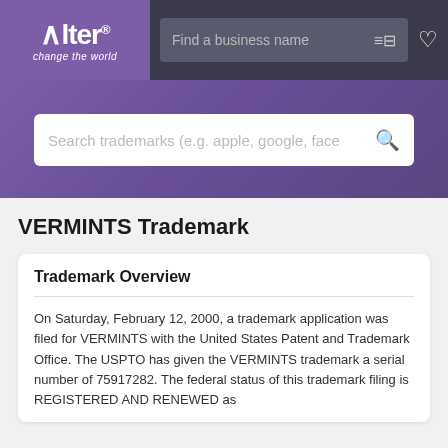[Figure (logo): Alter 'change the world' logo in purple box, navigation bar with 'Find a business name' search field and heart icon]
[Figure (screenshot): Purple banner with main trademark search bar: 'Search trademarks (e.g. apple, google, face']
VERMINTS Trademark
Trademark Overview
On Saturday, February 12, 2000, a trademark application was filed for VERMINTS with the United States Patent and Trademark Office. The USPTO has given the VERMINTS trademark a serial number of 75917282. The federal status of this trademark filing is REGISTERED AND RENEWED as